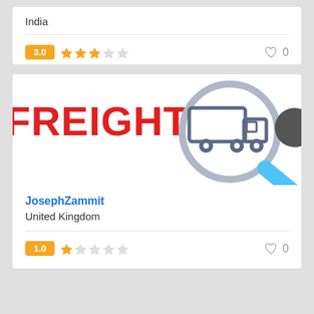India
3.0 ★★★☆☆  0
[Figure (screenshot): App listing card showing FREIGHT text in red bold letters and a magnifying glass icon with a truck illustration inside it, plus a partial dark circle on the right edge]
JosephZammit
United Kingdom
1.0 ★☆☆☆☆  0